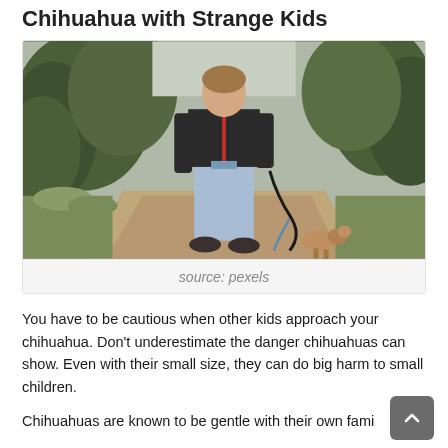Chihuahua with Strange Kids
[Figure (photo): A person in a black jacket and light blue jeans standing on a dirt path holding a dog leash, with trees and greenery in the background. A small dog (chihuahua) is visible near their feet on the right side.]
source: pexels
You have to be cautious when other kids approach your chihuahua. Don't underestimate the danger chihuahuas can show. Even with their small size, they can do big harm to small children.
Chihuahuas are known to be gentle with their own fami…